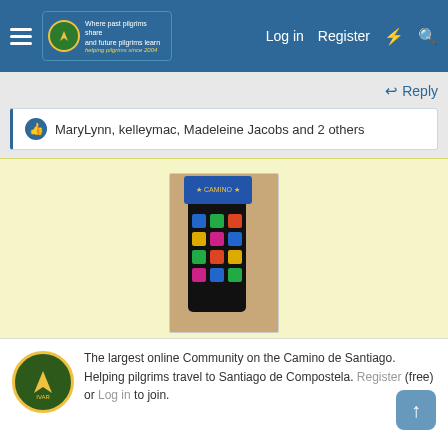Log in  Register
↩ Reply
MaryLynn, kelleymac, Madeleine Jacobs and 2 others
[Figure (photo): Photo of colorful Camino de Santiago themed socks with a blue branded header card, displayed on a wooden surface]
A Collection of Camino Socks
Browse the Camino Socks collection on the forum shop
[Figure (photo): Image showing partial view of a red circle with slash sign and text 'Ads' underneath]
The largest online Community on the Camino de Santiago. Helping pilgrims travel to Santiago de Compostela. Register (free) or Log in to join.